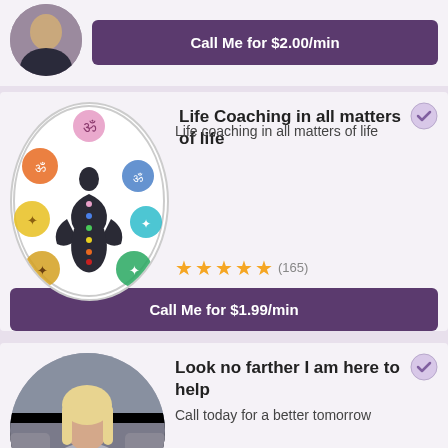[Figure (photo): Partial top card with circular avatar photo of a woman and a purple call button]
Call Me for $2.00/min
[Figure (illustration): Circular chakra illustration with a meditating silhouette and colorful chakra symbols]
Life Coaching in all matters of life
Life coaching in all matters of life
★★★★★ (165)
Call Me for $1.99/min
[Figure (photo): Circular photo of a blonde woman sitting on a couch in a grey off-shoulder top, holding a white heart]
Look no farther I am here to help
Call today for a better tomorrow
★★★★★ (7)
Call Me for $1.99/min